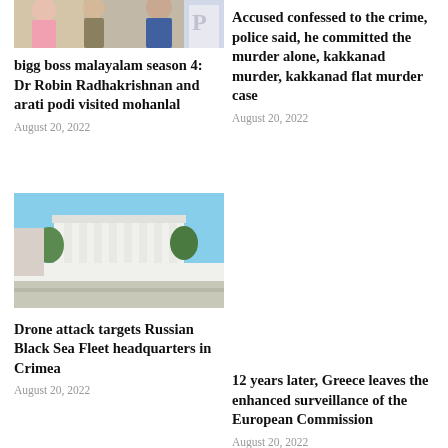[Figure (photo): Photo of people, top left article]
[Figure (photo): Photo with letter P visible, top right article]
bigg boss malayalam season 4: Dr Robin Radhakrishnan and arati podi visited mohanlal
August 20, 2022
Accused confessed to the crime, police said, he committed the murder alone, kakkanad murder, kakkanad flat murder case
August 20, 2022
[Figure (photo): Photo of Russian Black Sea Fleet headquarters building in Crimea - white columned building with fence]
[Figure (photo): Empty column, no image for Greece article]
Drone attack targets Russian Black Sea Fleet headquarters in Crimea
August 20, 2022
12 years later, Greece leaves the enhanced surveillance of the European Commission
August 20, 2022